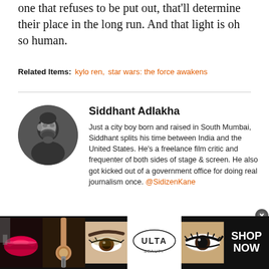one that refuses to be put out, that'll determine their place in the long run. And that light is oh so human.
Related Items: kylo ren, star wars: the force awakens
Siddhant Adlakha
Just a city boy born and raised in South Mumbai, Siddhant splits his time between India and the United States. He's a freelance film critic and frequenter of both sides of stage & screen. He also got kicked out of a government office for doing real journalism once. @SidizenKane
[Figure (photo): Advertisement banner for Ulta Beauty showing makeup and eye images with 'SHOP NOW' text]